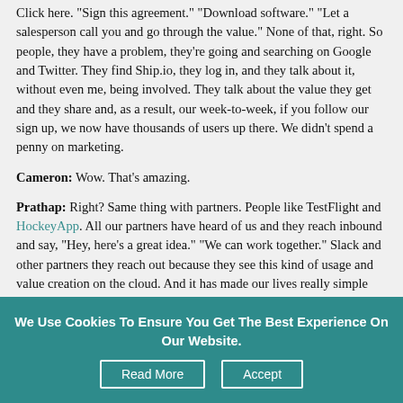Click here. "Sign this agreement." "Download software." "Let a salesperson call you and go through the value." None of that, right. So people, they have a problem, they're going and searching on Google and Twitter. They find Ship.io, they log in, and they talk about it, without even me, being involved. They talk about the value they get and they share and, as a result, our week-to-week, if you follow our sign up, we now have thousands of users up there. We didn't spend a penny on marketing.
Cameron: Wow. That's amazing.
Prathap: Right? Same thing with partners. People like TestFlight and HockeyApp. All our partners have heard of us and they reach inbound and say, "Hey, here's a great idea." "We can work together." Slack and other partners they reach out because they see this kind of usage and value creation on the cloud. And it has made our lives really simple because we focus on creating more value rather than having to market or sell these things. So, it's been a phenomenal experience for me.
Cameron: So you say that mobile and the cloud have definitely made the ability for a large community to do great things and make it look smaller?
Prathap: Absolutely, absolutely. There's no formality that people can connect and they're sharing things and they're sharing use cases and giving us a ton of feedback. And all of this happening on a self service...
We Use Cookies To Ensure You Get The Best Experience On Our Website. Read More Accept